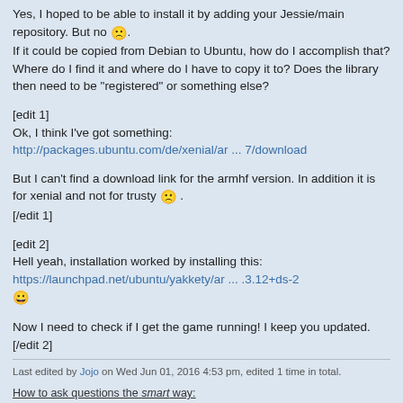Yes, I hoped to be able to install it by adding your Jessie/main repository. But no 😟. If it could be copied from Debian to Ubuntu, how do I accomplish that? Where do I find it and where do I have to copy it to? Does the library then need to be "registered" or something else?
[edit 1]
Ok, I think I've got something:
http://packages.ubuntu.com/de/xenial/ar ... 7/download
But I can't find a download link for the armhf version. In addition it is for xenial and not for trusty 😟 .
[/edit 1]
[edit 2]
Hell yeah, installation worked by installing this:
https://launchpad.net/ubuntu/yakkety/ar ... .3.12+ds-2
😀
Now I need to check if I get the game running! I keep you updated.
[/edit 2]
Last edited by Jojo on Wed Jun 01, 2016 4:53 pm, edited 1 time in total.
How to ask questions the smart way: